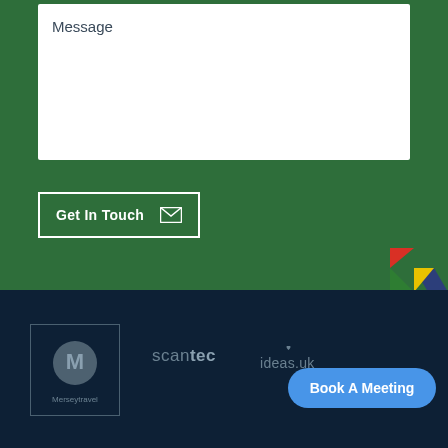Message
Get In Touch
[Figure (logo): Colorful geometric triangles/diamond shapes in red, blue, green, yellow]
[Figure (logo): Merseytravel logo — M inside circle, Merseytravel text below, inside a rectangle border]
[Figure (logo): scantec logo in grey text]
[Figure (logo): ideas.uk logo in grey text with small heart above dot]
Book A Meeting